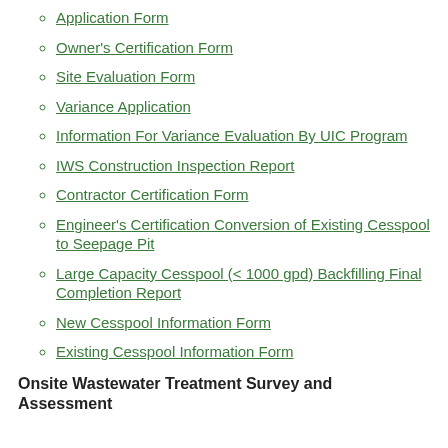Application Form
Owner's Certification Form
Site Evaluation Form
Variance Application
Information For Variance Evaluation By UIC Program
IWS Construction Inspection Report
Contractor Certification Form
Engineer's Certification Conversion of Existing Cesspool to Seepage Pit
Large Capacity Cesspool (< 1000 gpd) Backfilling Final Completion Report
New Cesspool Information Form
Existing Cesspool Information Form
Onsite Wastewater Treatment Survey and Assessment